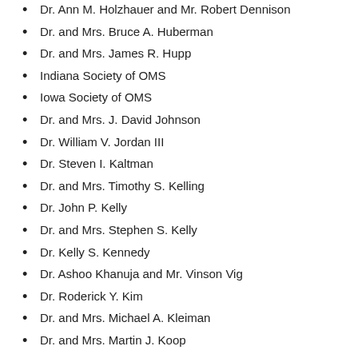Dr. Ann M. Holzhauer and Mr. Robert Dennison
Dr. and Mrs. Bruce A. Huberman
Dr. and Mrs. James R. Hupp
Indiana Society of OMS
Iowa Society of OMS
Dr. and Mrs. J. David Johnson
Dr. William V. Jordan III
Dr. Steven I. Kaltman
Dr. and Mrs. Timothy S. Kelling
Dr. John P. Kelly
Dr. and Mrs. Stephen S. Kelly
Dr. Kelly S. Kennedy
Dr. Ashoo Khanuja and Mr. Vinson Vig
Dr. Roderick Y. Kim
Dr. and Mrs. Michael A. Kleiman
Dr. and Mrs. Martin J. Koop
Dr. and Mrs. Deepak G. Krishnan
Dr. Amy Kuhmichel